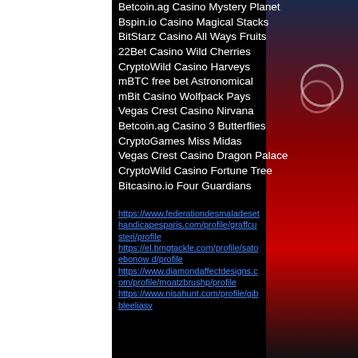Betcoin.ag Casino Mystery Planet
Bspin.io Casino Magical Stacks
BitStarz Casino All Ways Fruits
22Bet Casino Wild Cherries
CryptoWild Casino Harveys
mBTC free bet Astronomical
mBit Casino Wolfpack Pays
Vegas Crest Casino Nirvana
Betcoin.ag Casino 3 Butterflies
CryptoGames Miss Midas
Vegas Crest Casino Dragon Palace
CryptoWild Casino Fortune Tree
Bitcasino.io Four Guardians
https://www.federationdesmaladesethandicapesparis.com/profile/graffcusteri/profile
https://el.bmgtackle.com/profile/satoebonow d/profile
https://www.diamondaffectdesigns.com/profile/moatzbrushp/profile
https://www.nisahunt.com/profile/gibbleeliasv